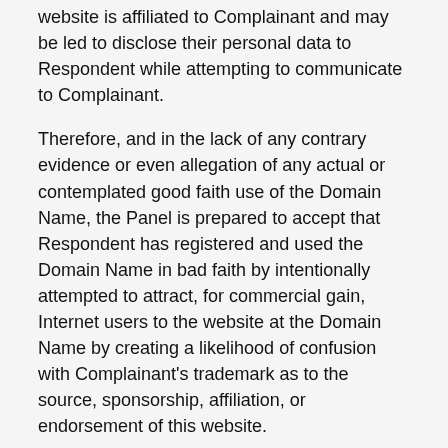website is affiliated to Complainant and may be led to disclose their personal data to Respondent while attempting to communicate to Complainant.
Therefore, and in the lack of any contrary evidence or even allegation of any actual or contemplated good faith use of the Domain Name, the Panel is prepared to accept that Respondent has registered and used the Domain Name in bad faith by intentionally attempted to attract, for commercial gain, Internet users to the website at the Domain Name by creating a likelihood of confusion with Complainant's trademark as to the source, sponsorship, affiliation, or endorsement of this website.
7. Decision
For the foregoing reasons, in accordance with paragraphs 4(i) of the Policy and 15 of the Rules, the Panel orders that the Domain Name <dfds-seaways-inc.com> be transferred to Complainant.